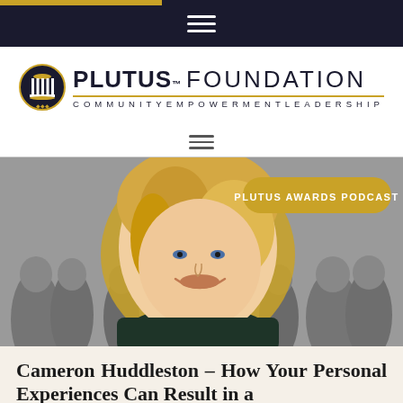[Figure (logo): Plutus Foundation logo with column icon, tagline: COMMUNITY EMPOWERMENT LEADERSHIP]
[Figure (photo): Podcast cover image showing a smiling blonde woman with a golden outline cutout against a grayscale crowd background, with a badge reading PLUTUS AWARDS PODCAST]
Cameron Huddleston – How Your Personal Experiences Can Result in a